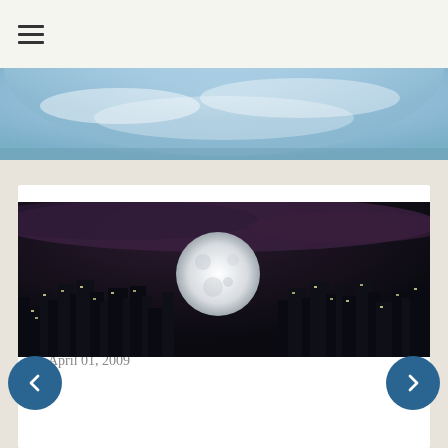≡
[Figure (photo): Blue sky with clouds, partial dome shape, used as decorative website header banner]
April Fool's Blawg Review Appendix 2009
April 01, 2009
[Figure (photo): Night cityscape with a large full moon rising over dark city buildings silhouetted against a dark cloudy sky]